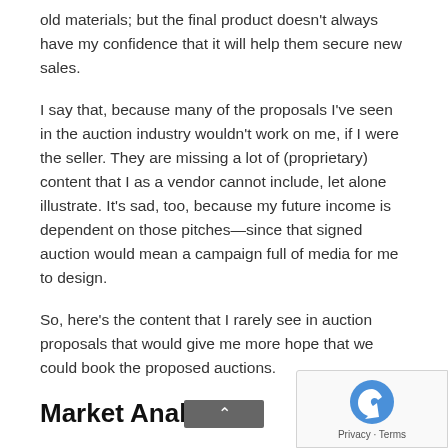old materials; but the final product doesn't always have my confidence that it will help them secure new sales.
I say that, because many of the proposals I've seen in the auction industry wouldn't work on me, if I were the seller. They are missing a lot of (proprietary) content that I as a vendor cannot include, let alone illustrate. It's sad, too, because my future income is dependent on those pitches—since that signed auction would mean a campaign full of media for me to design.
So, here's the content that I rarely see in auction proposals that would give me more hope that we could book the proposed auctions.
Market Analysis
What are the forces in the asset and geographic markets that will affect demand for what is being so... My REALTOR® could show me how many like-kind